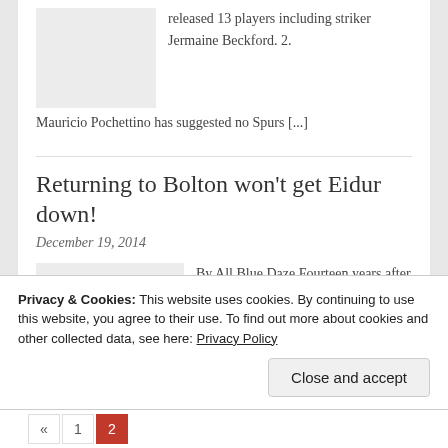released 13 players including striker Jermaine Beckford. 2. Mauricio Pochettino has suggested no Spurs [...]
Returning to Bolton won't get Eidur down!
December 19, 2014
By All Blue Daze Fourteen years after he left the club for a 'dream move' to Chelsea – as well fame
Privacy & Cookies: This website uses cookies. By continuing to use this website, you agree to their use. To find out more about cookies and other collected data, see here: Privacy Policy
Close and accept